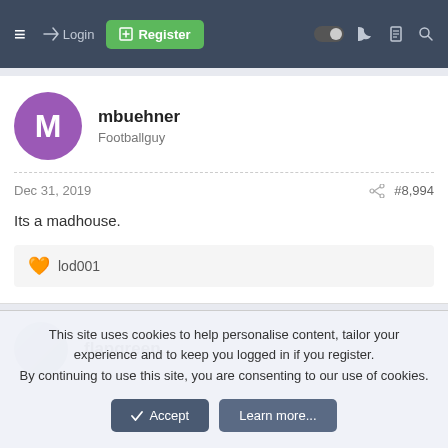≡  → Login  ⊞ Register
mbuehner
Footballguy
Dec 31, 2019  #8,994
Its a madhouse.
🧡 lod001
flapgreen
This site uses cookies to help personalise content, tailor your experience and to keep you logged in if you register.
By continuing to use this site, you are consenting to our use of cookies.